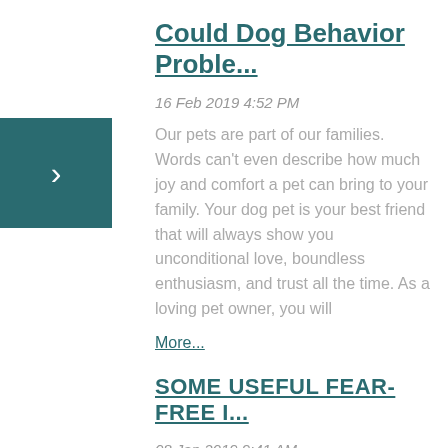Could Dog Behavior Proble...
16 Feb 2019 4:52 PM
Our pets are part of our families. Words can't even describe how much joy and comfort a pet can bring to your family. Your dog pet is your best friend that will always show you unconditional love, boundless enthusiasm, and trust all the time. As a loving pet owner, you will
More...
SOME USEFUL FEAR-FREE I...
08 Jan 2019 9:41 AM
Because HEART's  theme for December is fear-free, our blog this month talks about Nutraceuticals For Fear, Anxiety, And